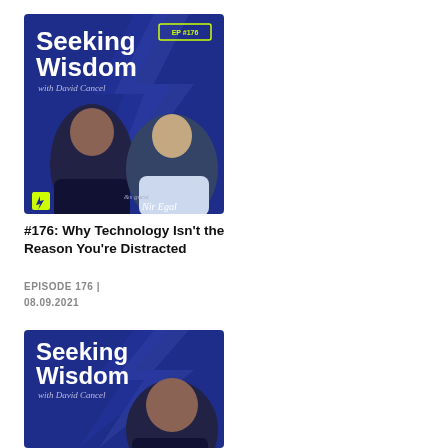[Figure (illustration): Seeking Wisdom podcast cover art EP #176 featuring David Cancel and Nir Eyal on dark blue background with lightning bolt graphic]
#176: Why Technology Isn't the Reason You're Distracted
EPISODE 176 | 08.09.2021
[Figure (illustration): Seeking Wisdom podcast cover art featuring David Cancel on dark blue background with lightning bolt graphic]